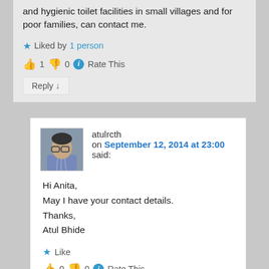and hygienic toilet facilities in small villages and for poor families, can contact me.
Liked by 1 person
👍 1 👎 0 ℹ Rate This
Reply ↓
[Figure (photo): Avatar photo of user atulrcth]
atulrcth on September 12, 2014 at 23:00 said:
Hi Anita,
May I have your contact details.
Thanks,
Atul Bhide
Like
👍 0 👎 0 ℹ Rate This
Reply ↓